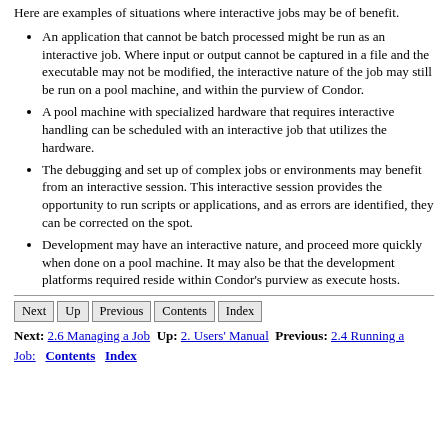Here are examples of situations where interactive jobs may be of benefit.
An application that cannot be batch processed might be run as an interactive job. Where input or output cannot be captured in a file and the executable may not be modified, the interactive nature of the job may still be run on a pool machine, and within the purview of Condor.
A pool machine with specialized hardware that requires interactive handling can be scheduled with an interactive job that utilizes the hardware.
The debugging and set up of complex jobs or environments may benefit from an interactive session. This interactive session provides the opportunity to run scripts or applications, and as errors are identified, they can be corrected on the spot.
Development may have an interactive nature, and proceed more quickly when done on a pool machine. It may also be that the development platforms required reside within Condor's purview as execute hosts.
Next | Up | Previous | Contents | Index | Next: 2.6 Managing a Job Up: 2. Users' Manual Previous: 2.4 Running a Job: Contents Index